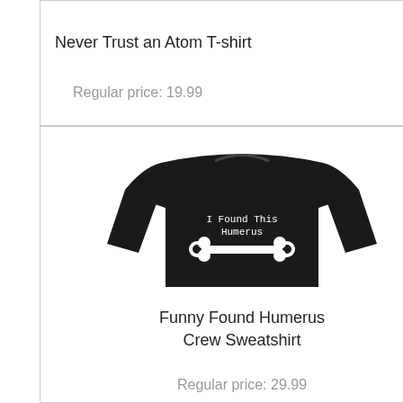Never Trust an Atom T-shirt
Regular price: 19.99
[Figure (photo): Black crew neck sweatshirt with white text 'I Found This Humerus' and a bone graphic]
Funny Found Humerus Crew Sweatshirt
Regular price: 29.99